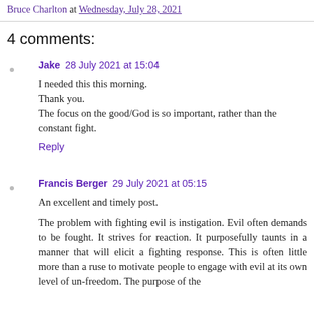Bruce Charlton at Wednesday, July 28, 2021
4 comments:
Jake  28 July 2021 at 15:04
I needed this this morning.
Thank you.
The focus on the good/God is so important, rather than the constant fight.
Reply
Francis Berger  29 July 2021 at 05:15
An excellent and timely post.
The problem with fighting evil is instigation. Evil often demands to be fought. It strives for reaction. It purposefully taunts in a manner that will elicit a fighting response. This is often little more than a ruse to motivate people to engage with evil at its own level of un-freedom. The purpose of the